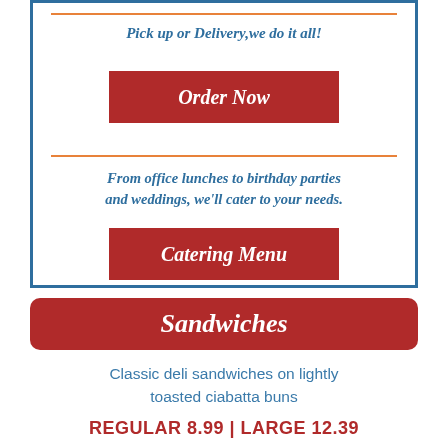Pick up or Delivery,we do it all!
Order Now
From office lunches to birthday parties and weddings, we'll cater to your needs.
Catering Menu
Sandwiches
Classic deli sandwiches on lightly toasted ciabatta buns
REGULAR 8.99 | LARGE 12.39